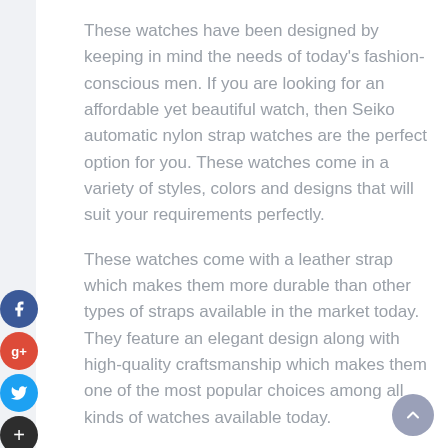These watches have been designed by keeping in mind the needs of today's fashion-conscious men. If you are looking for an affordable yet beautiful watch, then Seiko automatic nylon strap watches are the perfect option for you. These watches come in a variety of styles, colors and designs that will suit your requirements perfectly.
These watches come with a leather strap which makes them more durable than other types of straps available in the market today. They feature an elegant design along with high-quality craftsmanship which makes them one of the most popular choices among all kinds of watches available today.
3 Ultimate Guide To Seiko Watches For Men